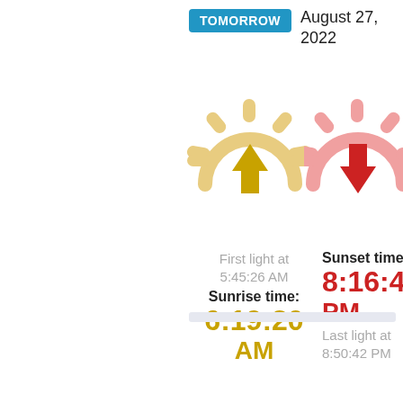TOMORROW
August 27, 2022
[Figure (illustration): Sunrise icon: golden/tan sun with rays and upward arrow]
[Figure (illustration): Sunset icon: pink/red sun with rays and downward arrow]
First light at 5:45:26 AM
Sunrise time: 6:19:20 AM
Sunset time: 8:16:48 PM
Last light at 8:50:42 PM